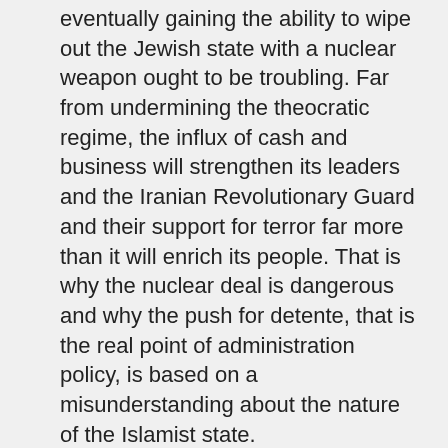eventually gaining the ability to wipe out the Jewish state with a nuclear weapon ought to be troubling. Far from undermining the theocratic regime, the influx of cash and business will strengthen its leaders and the Iranian Revolutionary Guard and their support for terror far more than it will enrich its people. That is why the nuclear deal is dangerous and why the push for detente, that is the real point of administration policy, is based on a misunderstanding about the nature of the Islamist state. https://www.commentarymagazine.com/2015/08/12/iran-plotting-against-israel/